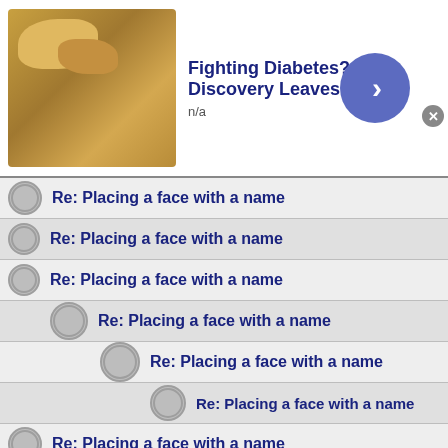[Figure (screenshot): Ad banner at top: cashew nuts image, 'Fighting Diabetes? This Discovery Leaves' title, 'n/a' subtitle, blue circle arrow button, grey X close button]
Re: Placing a face with a name
Re: Placing a face with a name
Re: Placing a face with a name
Re: Placing a face with a name
Re: Placing a face with a name
Re: Placing a face with a name
Re: Placing a face with a name
Re: Placing a face with a name
Re: Placing a face with a name
Re: Placing a face with a name
[Figure (screenshot): Ad banner at bottom: cashew nuts image, 'Fighting Diabetes? This Discovery Leaves' title, 'n/a' subtitle, blue circle arrow button, grey X close button]